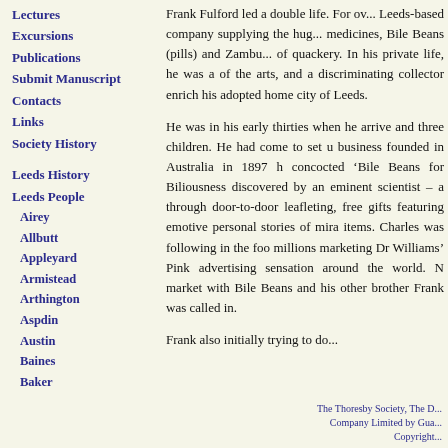Lectures
Excursions
Publications
Submit Manuscript
Contacts
Links
Society History
Leeds History
Leeds People
Airey
Allbutt
Appleyard
Armistead
Arthington
Aspdin
Austin
Baines
Baker
Frank Fulford led a double life. For ov... Leeds-based company supplying the hug... medicines, Bile Beans (pills) and Zambu... of quackery. In his private life, he was a... of the arts, and a discriminating collector... enrich his adopted home city of Leeds.
He was in his early thirties when he arrive... and three children. He had come to set u... business founded in Australia in 1897 h... concocted ‘Bile Beans for Biliousness... discovered by an eminent scientist – a... through door-to-door leafleting, free gifts... featuring emotive personal stories of mira... items. Charles was following in the foo... millions marketing Dr Williams’ Pink... advertising sensation around the world. N... market with Bile Beans and his other ... brother Frank was called in.
Frank also initially tried to do...
The Thoresby Society, The D...
Company Limited by Gua...
Copyright...